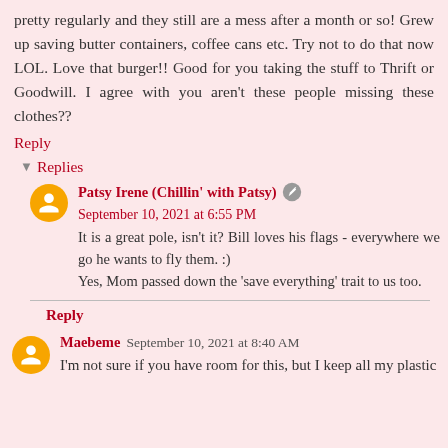pretty regularly and they still are a mess after a month or so! Grew up saving butter containers, coffee cans etc. Try not to do that now LOL. Love that burger!! Good for you taking the stuff to Thrift or Goodwill. I agree with you aren't these people missing these clothes??
Reply
Replies
Patsy Irene (Chillin' with Patsy) September 10, 2021 at 6:55 PM
It is a great pole, isn't it? Bill loves his flags - everywhere we go he wants to fly them. :)
Yes, Mom passed down the 'save everything' trait to us too.
Reply
Maebeme September 10, 2021 at 8:40 AM
I'm not sure if you have room for this, but I keep all my plastic